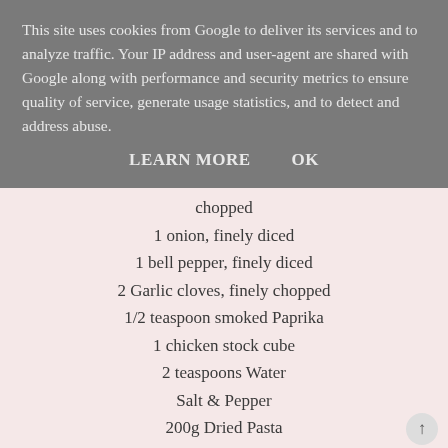This site uses cookies from Google to deliver its services and to analyze traffic. Your IP address and user-agent are shared with Google along with performance and security metrics to ensure quality of service, generate usage statistics, and to detect and address abuse.
LEARN MORE    OK
chopped
1 onion, finely diced
1 bell pepper, finely diced
2 Garlic cloves, finely chopped
1/2 teaspoon smoked Paprika
1 chicken stock cube
2 teaspoons Water
Salt & Pepper
200g Dried Pasta
40g extra light cheese per person
Method: